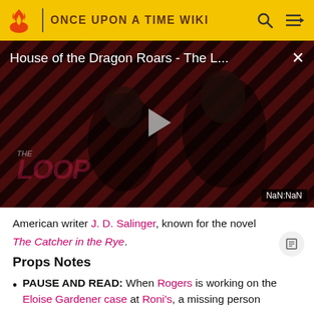ONCE UPON A TIME WIKI
[Figure (screenshot): Video thumbnail for 'House of the Dragon Roars - The L...' showing two dark figures against a red diagonal-striped background with THE LOOP watermark, a play button in the center, and NaN:NaN timestamp]
American writer J. D. Salinger, known for the novel The Catcher in the Rye.
Props Notes
PAUSE AND READ: When Rogers is working on the Eloise Gardener case at Roni's, a missing person